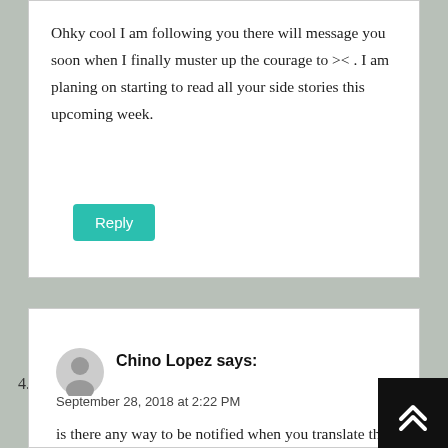Ohky cool I am following you there will message you soon when I finally muster up the courage to >< . I am planing on starting to read all your side stories this upcoming week.
Reply
4.
Chino Lopez says:
September 28, 2018 at 2:22 PM
is there any way to be notified when you translate the next